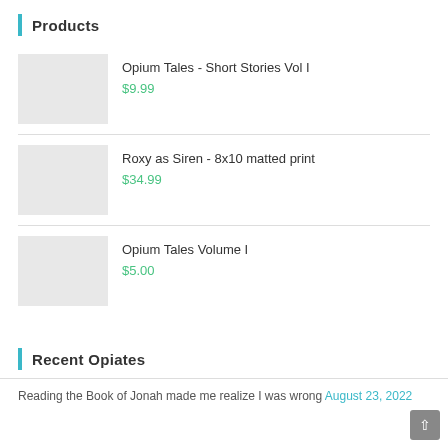Products
Opium Tales - Short Stories Vol I $9.99
Roxy as Siren - 8x10 matted print $34.99
Opium Tales Volume I $5.00
Recent Opiates
Reading the Book of Jonah made me realize I was wrong August 23, 2022